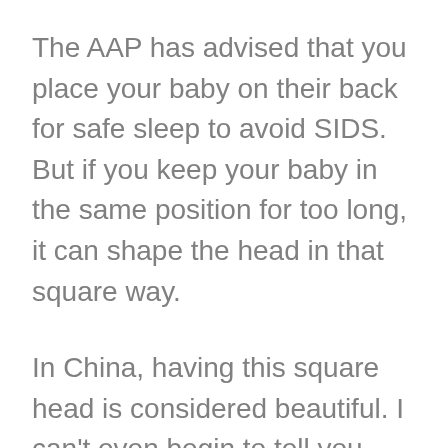The AAP has advised that you place your baby on their back for safe sleep to avoid SIDS. But if you keep your baby in the same position for too long, it can shape the head in that square way.
In China, having this square head is considered beautiful. I can't even begin to tell you how they were trying to push me to make my kids have square-